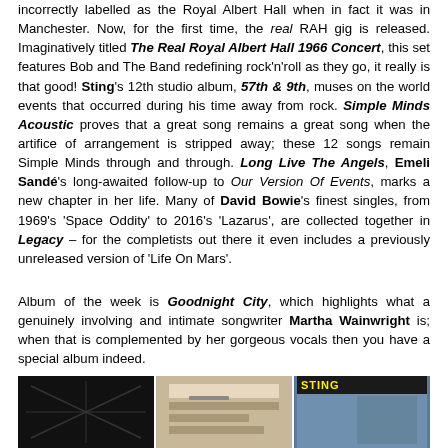incorrectly labelled as the Royal Albert Hall when in fact it was in Manchester. Now, for the first time, the real RAH gig is released. Imaginatively titled The Real Royal Albert Hall 1966 Concert, this set features Bob and The Band redefining rock'n'roll as they go, it really is that good! Sting's 12th studio album, 57th & 9th, muses on the world events that occurred during his time away from rock. Simple Minds Acoustic proves that a great song remains a great song when the artifice of arrangement is stripped away; these 12 songs remain Simple Minds through and through. Long Live The Angels, Emeli Sandé's long-awaited follow-up to Our Version Of Events, marks a new chapter in her life. Many of David Bowie's finest singles, from 1969's 'Space Oddity' to 2016's 'Lazarus', are collected together in Legacy – for the completists out there it even includes a previously unreleased version of 'Life On Mars'.
Album of the week is Goodnight City, which highlights what a genuinely involving and intimate songwriter Martha Wainwright is; when that is complemented by her gorgeous vocals then you have a special album indeed.
[Figure (photo): Three album cover images side by side: a dark image on the left, a mid-tone image in the center, and a Sting album cover on the right]